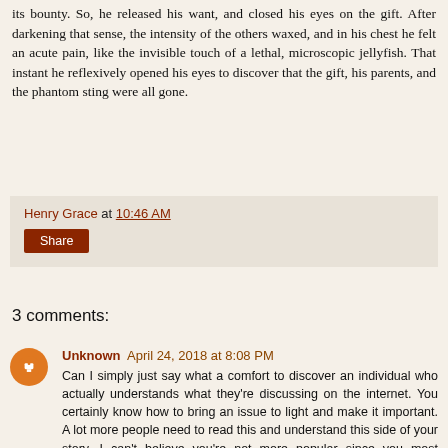its bounty. So, he released his want, and closed his eyes on the gift. After darkening that sense, the intensity of the others waxed, and in his chest he felt an acute pain, like the invisible touch of a lethal, microscopic jellyfish. That instant he reflexively opened his eyes to discover that the gift, his parents, and the phantom sting were all gone.
Henry Grace at 10:46 AM
Share
3 comments:
Unknown April 24, 2018 at 8:08 PM
Can I simply just say what a comfort to discover an individual who actually understands what they're discussing on the internet. You certainly know how to bring an issue to light and make it important. A lot more people need to read this and understand this side of your story. I can't believe you're not more popular since you most certainly possess the gift. facebook log in facebook